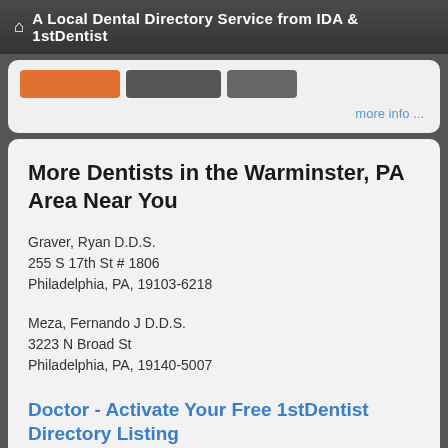A Local Dental Directory Service from IDA & 1stDentist
[Figure (screenshot): Partial UI card with orange button, two dark buttons, and a 'more info ...' link]
More Dentists in the Warminster, PA Area Near You
Graver, Ryan D.D.S.
255 S 17th St # 1806
Philadelphia, PA, 19103-6218
Meza, Fernando J D.D.S.
3223 N Broad St
Philadelphia, PA, 19140-5007
Doctor - Activate Your Free 1stDentist Directory Listing
Hanuscin, Joseph P D.D.S.